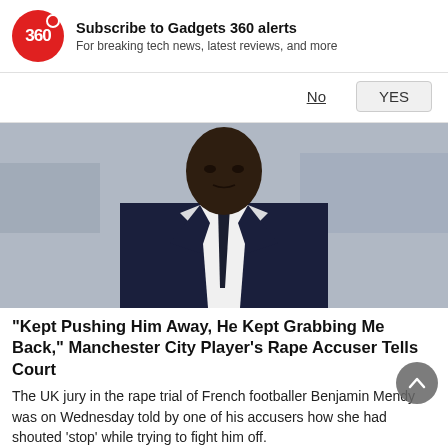Subscribe to Gadgets 360 alerts
For breaking tech news, latest reviews, and more
No   YES
[Figure (photo): A tall Black man in a dark navy suit with a white shirt and dark tie, photographed outdoors with cars blurred in background.]
"Kept Pushing Him Away, He Kept Grabbing Me Back," Manchester City Player's Rape Accuser Tells Court
The UK jury in the rape trial of French footballer Benjamin Mendy was on Wednesday told by one of his accusers how she had shouted 'stop' while trying to fight him off.
Sports